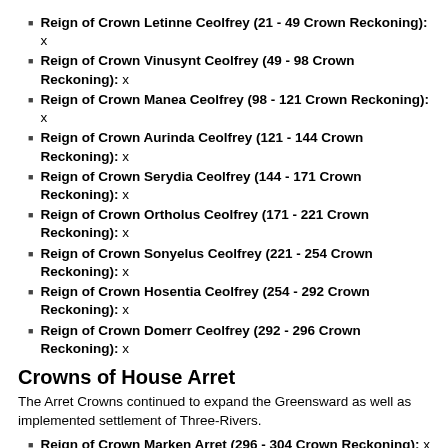Reign of Crown Letinne Ceolfrey (21 - 49 Crown Reckoning): x
Reign of Crown Vinusynt Ceolfrey (49 - 98 Crown Reckoning): x
Reign of Crown Manea Ceolfrey (98 - 121 Crown Reckoning): x
Reign of Crown Aurinda Ceolfrey (121 - 144 Crown Reckoning): x
Reign of Crown Serydia Ceolfrey (144 - 171 Crown Reckoning): x
Reign of Crown Ortholus Ceolfrey (171 - 221 Crown Reckoning): x
Reign of Crown Sonyelus Ceolfrey (221 - 254 Crown Reckoning): x
Reign of Crown Hosentia Ceolfrey (254 - 292 Crown Reckoning): x
Reign of Crown Domerr Ceolfrey (292 - 296 Crown Reckoning): x
Crowns of House Arret
The Arret Crowns continued to expand the Greensward as well as implemented settlement of Three-Rivers.
Reign of Crown Marken Arret (296 - 304 Crown Reckoning): x
Reign of Crown Wynna Arret (304 - 328 Crown Reckoning): x
Reign of Crown Phulyr Arret (328 - 351 Crown Reckoning): x
Reign of Crown Brabinn Arret (351 - 377 Crown Reckoning): x
Reign of Crown Aupellia Arret (377 - 405 Crown Reckoning): x
Reign of Crown Tyrtannus Arret (405 - 448 Crown Reckoning): x
Crowns of House Ylrath
Under the Ylrath Crowns, Ilbarych has continued to push the Greensward east, and has undertaken the settlement of Northshore.